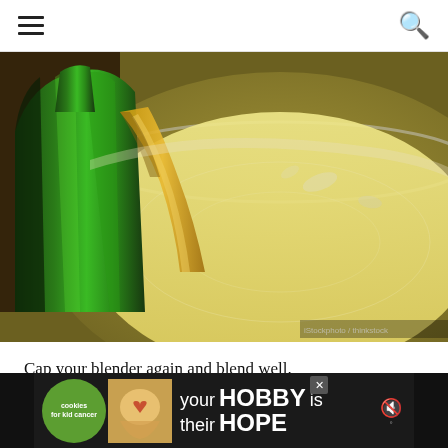Navigation header with hamburger menu and search icon
[Figure (photo): A green glass bottle pouring golden oil into a white blender container filled with pale mixture]
Cap your blender again and blend well.
[Figure (other): Advertisement banner: cookies for kid cancer - your HOBBY is their HOPE with close button and mute icon]